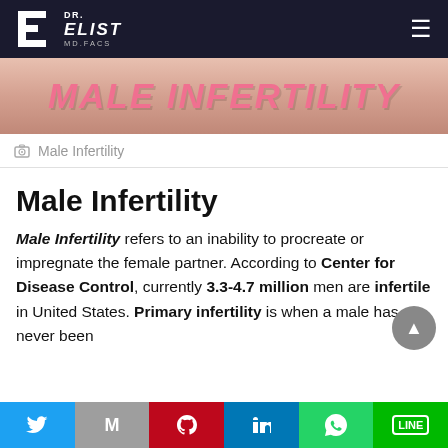Dr. Elist MD.FACS
[Figure (photo): Hero banner with pink text reading MALE INFERTILITY over a blurred skin-tone background]
Male Infertility
Male Infertility refers to an inability to procreate or impregnate the female partner. According to Center for Disease Control, currently 3.3-4.7 million men are infertile in United States. Primary infertility is when a male has never been able to impregnate a female partner, while it for...
Twitter, Gmail, Pinterest, LinkedIn, WhatsApp, LINE social share buttons